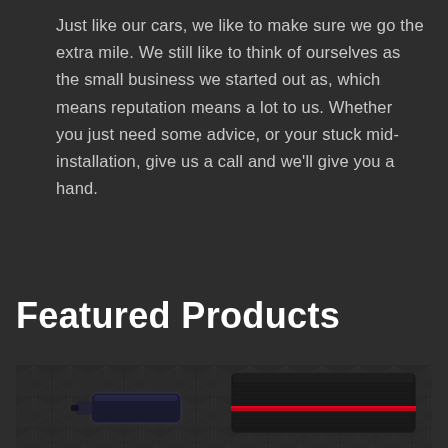Just like our cars, we like to make sure we go the extra mile. We still like to think of ourselves as the small business we started out as, which means reputation means a lot to us. Whether you just need some advice, or your stuck mid-installation, give us a call and we'll give you a hand.
Featured Products
[Figure (photo): Dark hexagonal pattern background with automotive product items — a dark cylindrical/rectangular device on the left and a sleek black product with a red accent stripe on the right]